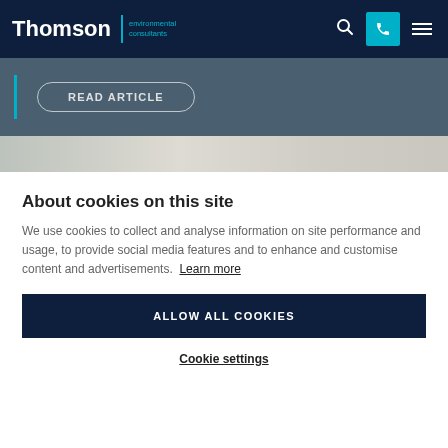Thomson environmental consultants
[Figure (screenshot): Dark blue-grey background with a 'READ ARTICLE' button in a rounded rectangle border with a teal vertical bar on the left]
[Figure (photo): Partial image strip showing a muted grey-green textured background]
About cookies on this site
We use cookies to collect and analyse information on site performance and usage, to provide social media features and to enhance and customise content and advertisements. Learn more
ALLOW ALL COOKIES
Cookie settings